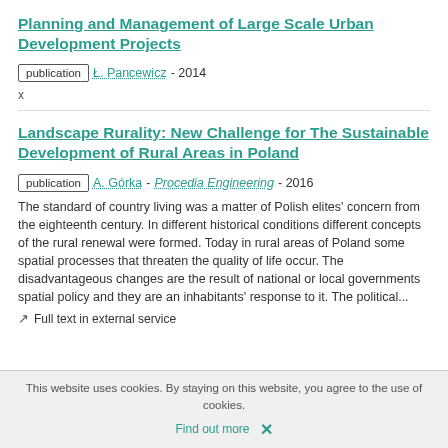Planning and Management of Large Scale Urban Development Projects
publication · Ł. Pancewicz · 2014
x
Landscape Rurality: New Challenge for The Sustainable Development of Rural Areas in Poland
publication · A. Górka · Procedia Engineering · 2016
The standard of country living was a matter of Polish elites' concern from the eighteenth century. In different historical conditions different concepts of the rural renewal were formed. Today in rural areas of Poland some spatial processes that threaten the quality of life occur. The disadvantageous changes are the result of national or local governments spatial policy and they are an inhabitants' response to it. The political...
Full text in external service
This website uses cookies. By staying on this website, you agree to the use of cookies. Find out more